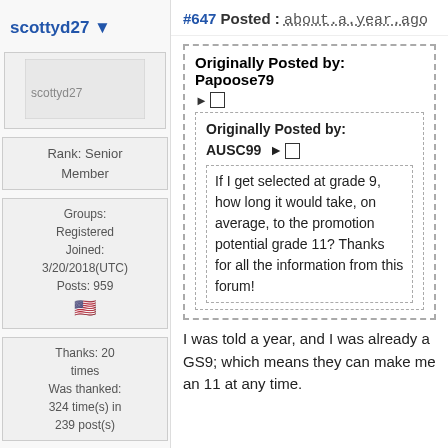scottyd27
#647 Posted : about a year ago
[Figure (other): Avatar placeholder image labeled scottyd27]
Rank: Senior Member
Groups: Registered
Joined: 3/20/2018(UTC)
Posts: 959
🇺🇸
Thanks: 20 times
Was thanked: 324 time(s) in 239 post(s)
Originally Posted by: Papoose79
Originally Posted by: AUSC99
If I get selected at grade 9, how long it would take, on average, to the promotion potential grade 11? Thanks for all the information from this forum!
I was told a year, and I was already a GS9; which means they can make me an 11 at any time.